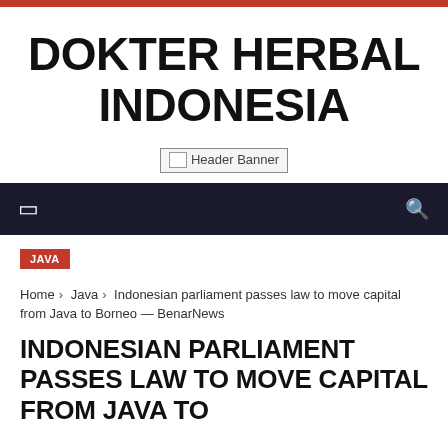DOKTER HERBAL INDONESIA
[Figure (other): Header Banner placeholder image]
Navigation bar with menu and search icons
JAVA
Home › Java › Indonesian parliament passes law to move capital from Java to Borneo — BenarNews
INDONESIAN PARLIAMENT PASSES LAW TO MOVE CAPITAL FROM JAVA TO